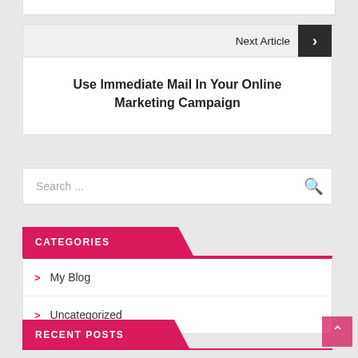Next Article
Use Immediate Mail In Your Online Marketing Campaign
Search ...
CATEGORIES
My Blog
Uncategorized
RECENT POSTS